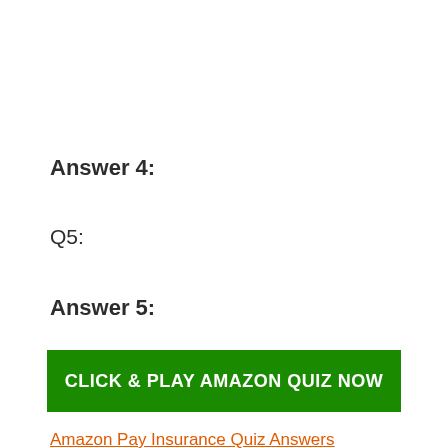Answer 4:
Q5:
Answer 5:
CLICK & PLAY AMAZON QUIZ NOW
Amazon Pay Insurance Quiz Answers Win – Rs 10,000 Pay Balance